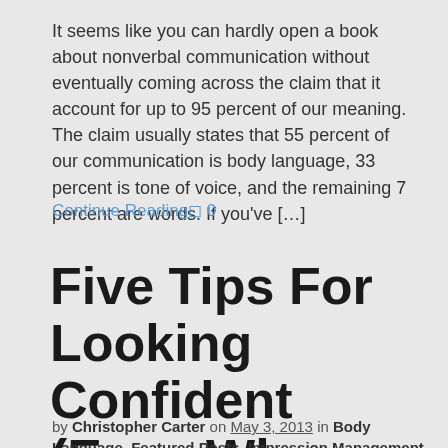It seems like you can hardly open a book about nonverbal communication without eventually coming across the claim that it account for up to 95 percent of our meaning. The claim usually states that 55 percent of our communication is body language, 33 percent is tone of voice, and the remaining 7 percent are words. If you've […]
Continue Reading◻ 0
Five Tips For Looking Confident (Even When You Aren't)
by Christopher Carter on May 3, 2013 in Body Language, Featured Posts, Impression Management, Influence, Positive Thinking